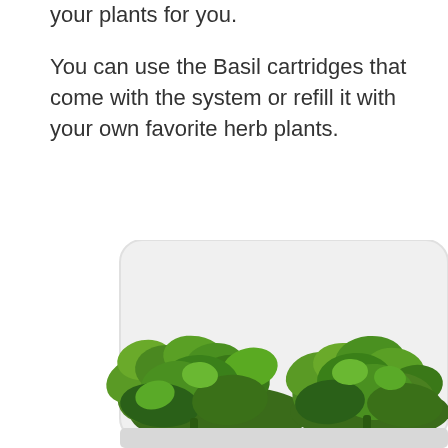your plants for you.
You can use the Basil cartridges that come with the system or refill it with your own favorite herb plants.
[Figure (photo): Photo of two clusters of fresh green basil herb plants growing inside a white rectangular indoor garden device with rounded corners, shown from a slightly elevated angle against a white background.]